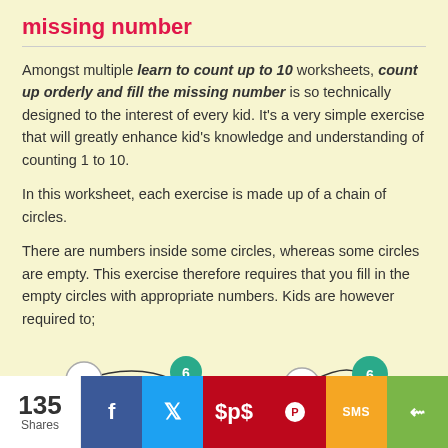missing number
Amongst multiple learn to count up to 10 worksheets, count up orderly and fill the missing number is so technically designed to the interest of every kid. It's a very simple exercise that will greatly enhance kid's knowledge and understanding of counting 1 to 10.
In this worksheet, each exercise is made up of a chain of circles.
There are numbers inside some circles, whereas some circles are empty. This exercise therefore requires that you fill in the empty circles with appropriate numbers. Kids are however required to;
[Figure (illustration): A chain of circles connected by curved lines. From left: empty circle, filled green circle with number 6, empty circle, filled green circle with number 6.]
135 Shares | Facebook | Twitter | Pinterest | SMS | Share